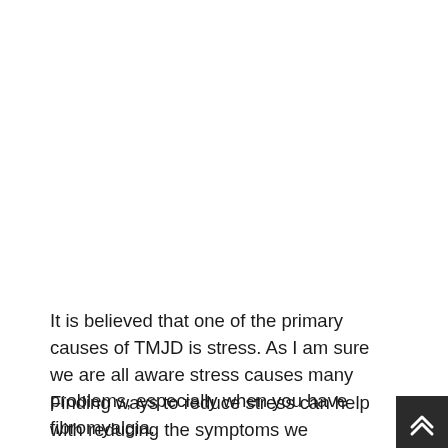It is believed that one of the primary causes of TMJD is stress. As I am sure we are all aware stress causes many problems, especially when you have fibromyalgia.
Finding ways to reduce stress can help with reducing the symptoms we experience because of TMJD, as well as fibromyalgia.